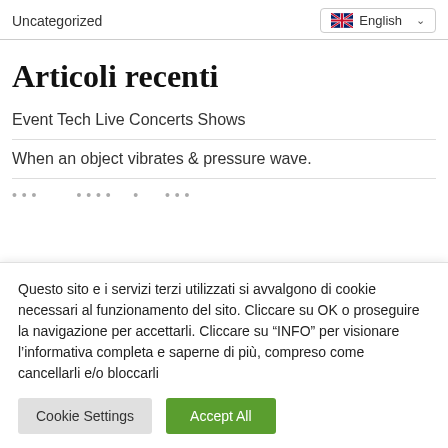Uncategorized | English
Articoli recenti
Event Tech Live Concerts Shows
When an object vibrates & pressure wave.
Questo sito e i servizi terzi utilizzati si avvalgono di cookie necessari al funzionamento del sito. Cliccare su OK o proseguire la navigazione per accettarli. Cliccare su "INFO" per visionare l'informativa completa e saperne di più, compreso come cancellarli e/o bloccarli
Cookie Settings | Accept All